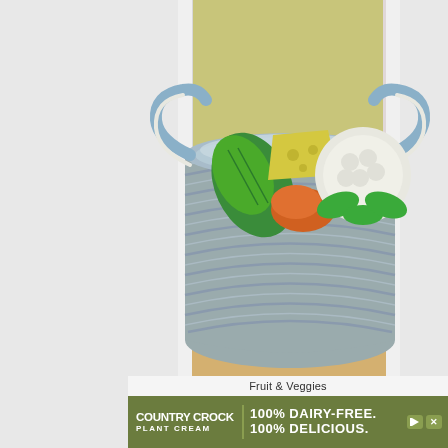[Figure (photo): A gray woven basket with two blue handles sitting on a light wood shelf between white cabinet walls. The basket contains toy plastic fruits and vegetables: a green corn/avocado, a yellow cheese wedge, an orange carrot/tomato, and a white/green cabbage or lettuce.]
Fruit & Veggies
[Figure (other): Country Crock Plant Cream advertisement banner: green background with white text reading '100% DAIRY-FREE. 100% DELICIOUS.' and the Country Crock Plant Cream logo on the left.]